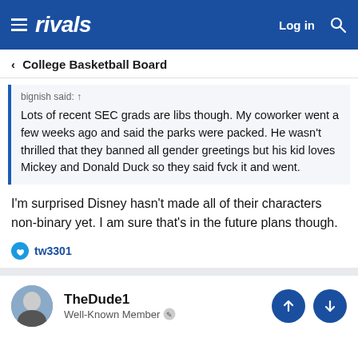rivals — Log in
< College Basketball Board
bignish said: ↑

Lots of recent SEC grads are libs though. My coworker went a few weeks ago and said the parks were packed. He wasn't thrilled that they banned all gender greetings but his kid loves Mickey and Donald Duck so they said fvck it and went.
I'm surprised Disney hasn't made all of their characters non-binary yet. I am sure that's in the future plans though.
tw3301
TheDude1
Well-Known Member